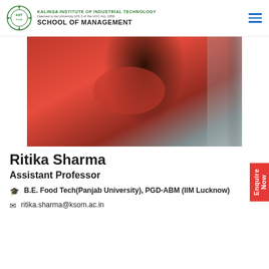KALINGA INSTITUTE OF INDUSTRIAL TECHNOLOGY
Deemed to be University U/S 3 of the UGC Act, 1956
SCHOOL OF MANAGEMENT
[Figure (photo): Profile photo of Ritika Sharma in a red outfit with dark hair, face not visible]
Ritika Sharma
Assistant Professor
B.E. Food Tech(Panjab University), PGD-ABM (IIM Lucknow)
ritika.sharma@ksom.ac.in